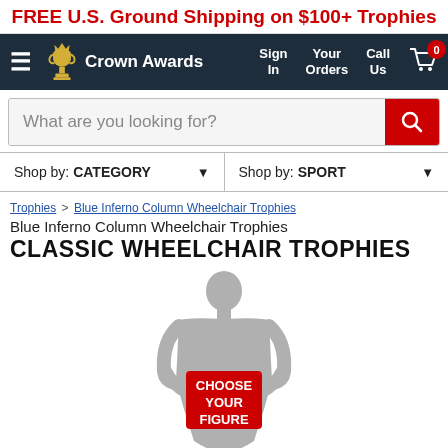FREE U.S. Ground Shipping on $100+ Trophies
[Figure (screenshot): Crown Awards navigation bar with logo, Sign In, Your Orders, Call Us links, and cart icon with 0 badge]
[Figure (screenshot): Search bar with placeholder 'What are you looking for?' and red search button]
[Figure (screenshot): Two dropdown selectors: Shop by: CATEGORY and Shop by: SPORT]
Trophies > Blue Inferno Column Wheelchair Trophies
Blue Inferno Column Wheelchair Trophies
CLASSIC WHEELCHAIR TROPHIES
[Figure (illustration): Gray silhouette figure holding a red badge reading CHOOSE YOUR FIGURE]